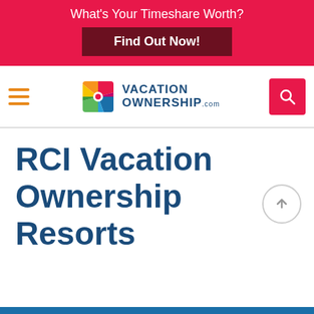What's Your Timeshare Worth?
Find Out Now!
[Figure (logo): VacationOwnership.com logo with colorful pinwheel icon and navigation bar including hamburger menu and search button]
RCI Vacation Ownership Resorts